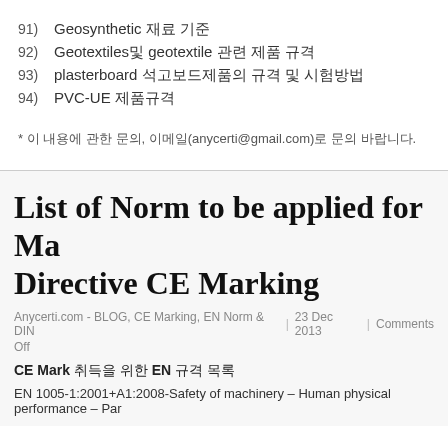91)  Geosynthetic 재료 기준
92)  Geotextiles및 geotextile 관련 제품 규격
93)  plasterboard 석고보드제품의 규격 및 시험방법
94)  PVC-UE 제품규격
* 이 내용에 관한 문의, 이메일(anycerti@gmail.com)로 문의 바랍니다.
List of Norm to be applied for Machinery Directive CE Marking
Anycerti.com - BLOG, CE Marking, EN Norm & DIN  |  23 Dec 2013  |  Comments Off
CE Mark 취득을 위한 EN 규격 목록
EN 1005-1:2001+A1:2008-Safety of machinery – Human physical performance – Par